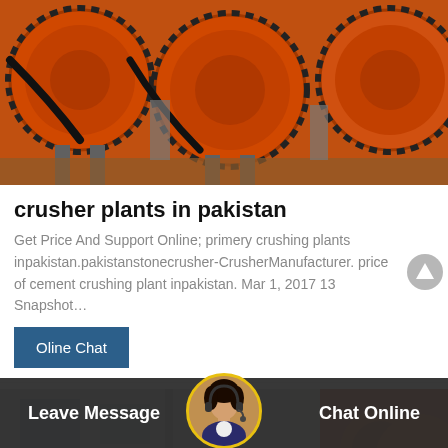[Figure (photo): Large orange industrial crusher/ball mill machinery on a factory floor, multiple units visible]
crusher plants in pakistan
Get Price And Support Online; primery crushing plants inpakistan.pakistanstonecrusher-CrusherManufacturer. price of cement crushing plant inpakistan. Mar 1, 2017 13 Snapshot…
Oline Chat
[Figure (photo): Partial view of industrial machinery in a factory setting, with red/orange equipment visible]
Leave Message
Chat Online